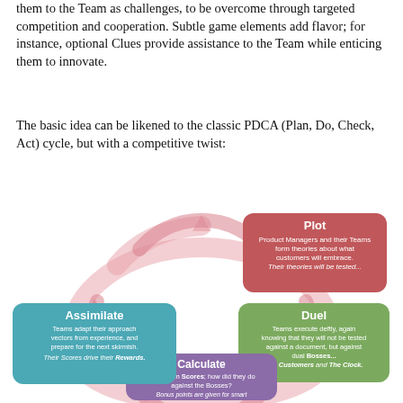them to the Team as challenges, to be overcome through targeted competition and cooperation. Subtle game elements add flavor; for instance, optional Clues provide assistance to the Team while enticing them to innovate.
The basic idea can be likened to the classic PDCA (Plan, Do, Check, Act) cycle, but with a competitive twist:
[Figure (flowchart): Circular diagram with four rounded-rectangle nodes connected by curved arrows forming a cycle. Top: 'Plot' (red/rose) — Product Managers and their Teams form theories about what customers will embrace. Their theories will be tested... Right: 'Duel' (green) — Teams execute deftly, again knowing that they will not be tested against a document, but against dual Bosses... The Customers and The Clock. Bottom: 'Calculate' (purple) — Tally Team Scores; how did they do against the Bosses? Bonus points are given for smart play, innovation and adaptation. Left: 'Assimilate' (teal/blue) — Teams adapt their approach vectors from experience, and prepare for the next skirmish. Their Scores drive their Rewards.]